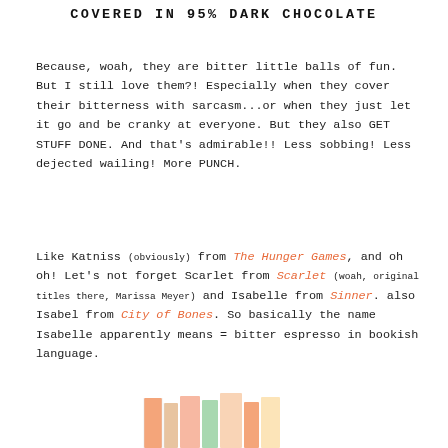COVERED IN 95% DARK CHOCOLATE
Because, woah, they are bitter little balls of fun. But I still love them?! Especially when they cover their bitterness with sarcasm...or when they just let it go and be cranky at everyone. But they also GET STUFF DONE. And that's admirable!! Less sobbing! Less dejected wailing! More PUNCH.
Like Katniss (obviously) from The Hunger Games, and oh oh! Let's not forget Scarlet from Scarlet (woah, original titles there, Marissa Meyer) and Isabelle from Sinner. also Isabel from City of Bones. So basically the name Isabelle apparently means = bitter espresso in bookish language.
[Figure (illustration): Partial illustration of colorful book spines at the bottom of the page]